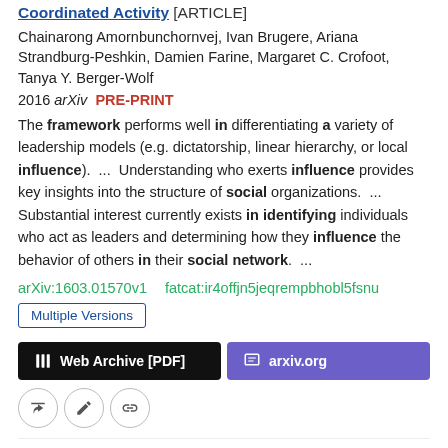Coordinated Activity [ARTICLE]
Chainarong Amornbunchornvej, Ivan Brugere, Ariana Strandburg-Peshkin, Damien Farine, Margaret C. Crofoot, Tanya Y. Berger-Wolf
2016 arXiv  PRE-PRINT
The framework performs well in differentiating a variety of leadership models (e.g. dictatorship, linear hierarchy, or local influence).  ...  Understanding who exerts influence provides key insights into the structure of social organizations.  ...  Substantial interest currently exists in identifying individuals who act as leaders and determining how they influence the behavior of others in their social network.  ...
arXiv:1603.01570v1  fatcat:ir4offjn5jeqrempbhobl5fsnu
Multiple Versions
Web Archive [PDF]
arxiv.org
Processing and Visualizing Data in Complex Learning Environments
Kate Thompson, David Ashe, Lucila Carvalho, Peter Goodyear